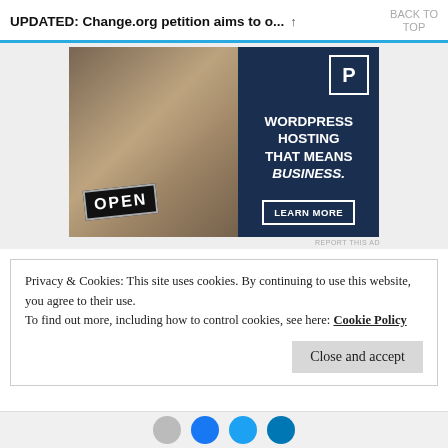UPDATED: Change.org petition aims to o... ↑  BACK TO TOP
[Figure (photo): Advertisement showing a smiling woman holding an OPEN sign, next to dark navy blue panel with text 'WORDPRESS HOSTING THAT MEANS BUSINESS.' and a 'LEARN MORE' button]
REPORT THIS AD
Privacy & Cookies: This site uses cookies. By continuing to use this website, you agree to their use.
To find out more, including how to control cookies, see here: Cookie Policy
Close and accept